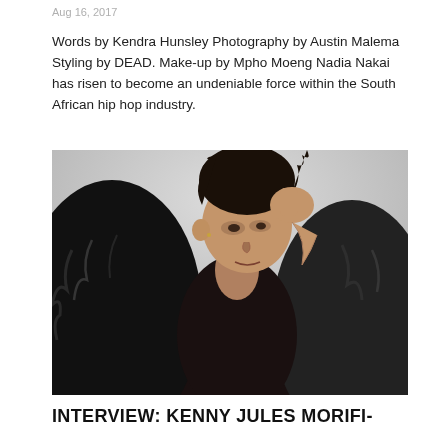Aug 16, 2017
Words by Kendra Hunsley Photography by Austin Malema Styling by DEAD. Make-up by Mpho Moeng Nadia Nakai has risen to become an undeniable force within the South African hip hop industry.
[Figure (photo): Black and white fashion portrait of Nadia Nakai wearing a black fur coat, hand raised near her head, looking to the side, against a light grey background.]
INTERVIEW: KENNY JULES MORIFI-